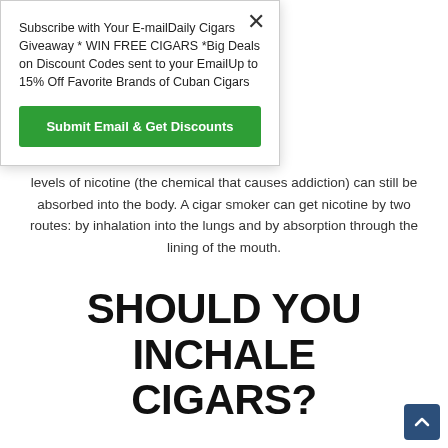Subscribe with Your E-mailDaily Cigars Giveaway * WIN FREE CIGARS *Big Deals on Discount Codes sent to your EmailUp to 15% Off Favorite Brands of Cuban Cigars
Submit Email & Get Discounts
levels of nicotine (the chemical that causes addiction) can still be absorbed into the body. A cigar smoker can get nicotine by two routes: by inhalation into the lungs and by absorption through the lining of the mouth.
SHOULD YOU INCHALE CIGARS?
Traditionally, cigar smokers don't inhale. Inhaling is uncomfortable and significantly increases the hazards associated with cigar smoking. And, there's no reason to inhale cigar smoke! Unlike